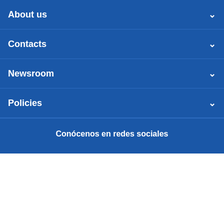About us
Contacts
Newsroom
Policies
Conócenos en redes sociales